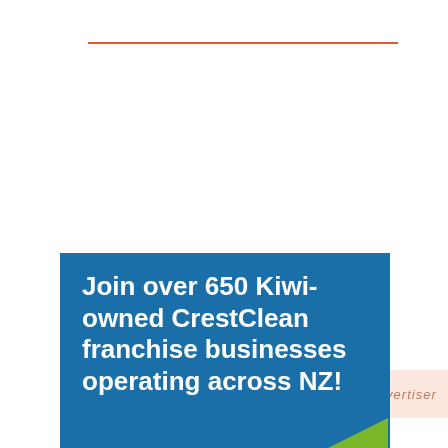[Figure (other): Orange horizontal rule / divider line near top of page]
Advertiser
[Figure (other): Blue advertisement banner with white bold text: Join over 650 Kiwi-owned CrestClean franchise businesses operating across NZ!, with green accent in bottom right corner]